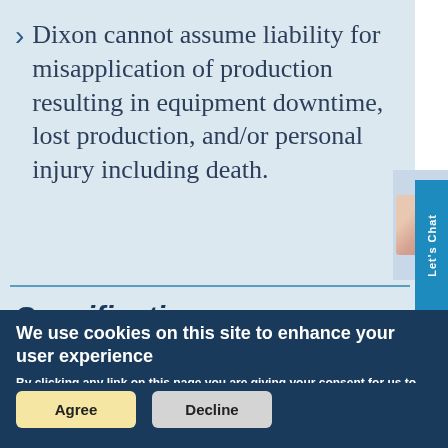Dixon cannot assume liability for misapplication of production resulting in equipment downtime, lost production, and/or personal injury including death.
Specifications
We use cookies on this site to enhance your user experience
By clicking any link on this page you are giving your consent for us to set cookies. More information
Agree
Decline